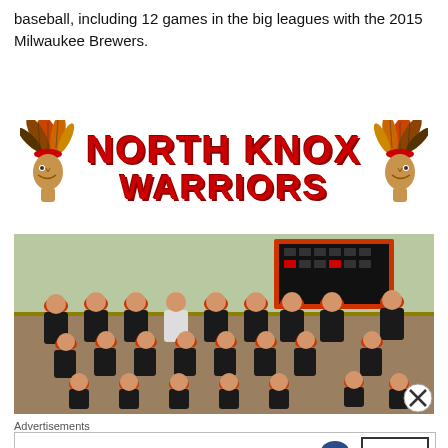baseball, including 12 games in the big leagues with the 2015 Milwaukee Brewers.
[Figure (logo): North Knox Warriors logo with Native American chief heads on both sides and bold red text reading NORTH KNOX WARRIORS]
[Figure (photo): Team photo of North Knox Warriors baseball players in black and red uniforms, posed in three rows on a baseball field with a scoreboard in the background]
Advertisements
[Figure (other): Bloomingdale's advertisement: 'bloomingdales View Today's Top Deals!' with a woman in a large hat and SHOP NOW > button]